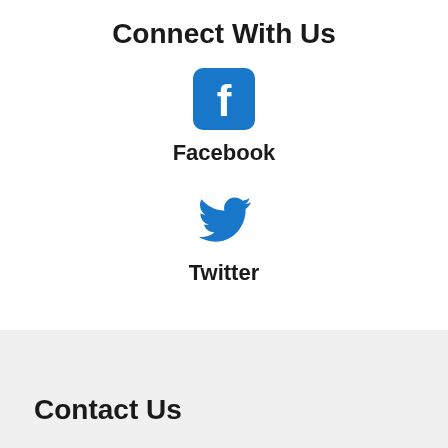Connect With Us
[Figure (logo): Facebook logo - blue rounded square with white 'f' letter]
Facebook
[Figure (logo): Twitter logo - blue bird icon]
Twitter
Contact Us